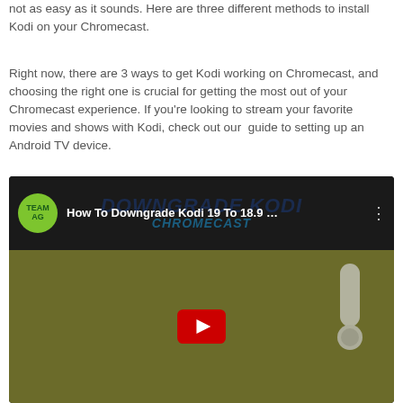not as easy as it sounds. Here are three different methods to install Kodi on your Chromecast.
Right now, there are 3 ways to get Kodi working on Chromecast, and choosing the right one is crucial for getting the most out of your Chromecast experience. If you're looking to stream your favorite movies and shows with Kodi, check out our guide to setting up an Android TV device.
[Figure (screenshot): YouTube video thumbnail showing 'How To Downgrade Kodi 19 To 18.9 ... CHROMECAST' with Team AG channel icon, play button, and Kodi 18.9 branding]